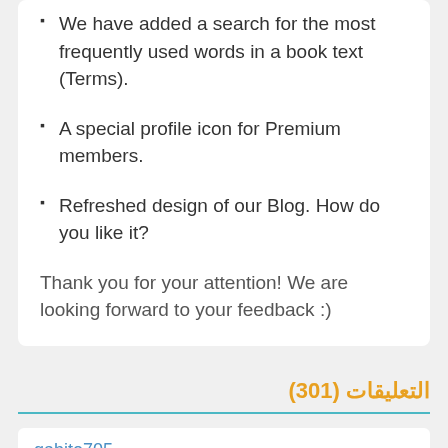We have added a search for the most frequently used words in a book text (Terms).
A special profile icon for Premium members.
Refreshed design of our Blog. How do you like it?
Thank you for your attention! We are looking forward to your feedback :)
التعليقات (301)
gabito705